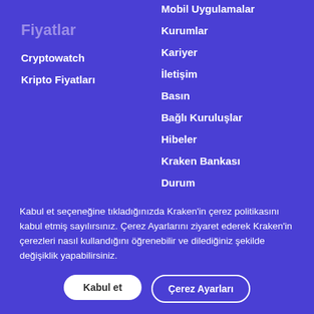Fiyatlar
Cryptowatch
Kripto Fiyatları
Mobil Uygulamalar
Kurumlar
Kariyer
İletişim
Basın
Bağlı Kuruluşlar
Hibeler
Kraken Bankası
Durum
Kabul et seçeneğine tıkladığınızda Kraken'in çerez politikasını kabul etmiş sayılırsınız. Çerez Ayarlarını ziyaret ederek Kraken'in çerezleri nasıl kullandığını öğrenebilir ve dilediğiniz şekilde değişiklik yapabilirsiniz.
Kabul et
Çerez Ayarları